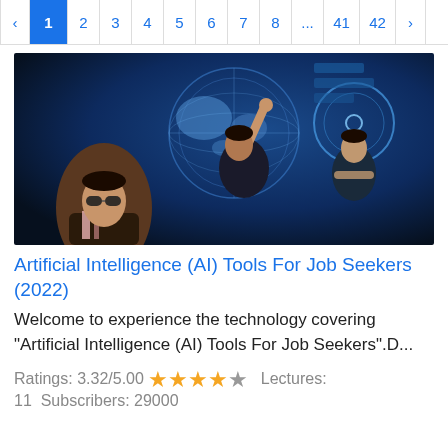‹  1  2  3  4  5  6  7  8  ...  41  42  ›
[Figure (photo): Course thumbnail showing a person in sunglasses in the foreground and two professionals interacting with a large digital world map display screen in the background.]
Artificial Intelligence (AI) Tools For Job Seekers (2022)
Welcome to experience the technology covering "Artificial Intelligence (AI) Tools For Job Seekers".D...
Ratings: 3.32/5.00 ★★★★☆ Lectures: 11  Subscribers: 29000